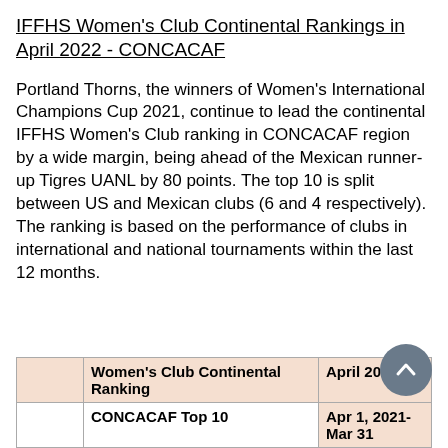IFFHS Women's Club Continental Rankings in April 2022 - CONCACAF
Portland Thorns, the winners of Women's International Champions Cup 2021, continue to lead the continental IFFHS Women's Club ranking in CONCACAF region by a wide margin, being ahead of the Mexican runner-up Tigres UANL by 80 points. The top 10 is split between US and Mexican clubs (6 and 4 respectively).
The ranking is based on the performance of clubs in international and national tournaments within the last 12 months.
|  | Women's Club Continental Ranking | April 2022 |
| --- | --- | --- |
|  | CONCACAF Top 10 | Apr 1, 2021- Mar 31 |